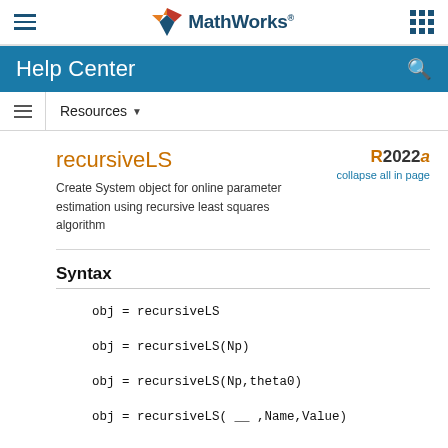MathWorks Help Center
recursiveLS
Create System object for online parameter estimation using recursive least squares algorithm
R2022a  collapse all in page
Syntax
obj = recursiveLS
obj = recursiveLS(Np)
obj = recursiveLS(Np,theta0)
obj = recursiveLS( __ ,Name,Value)
Description